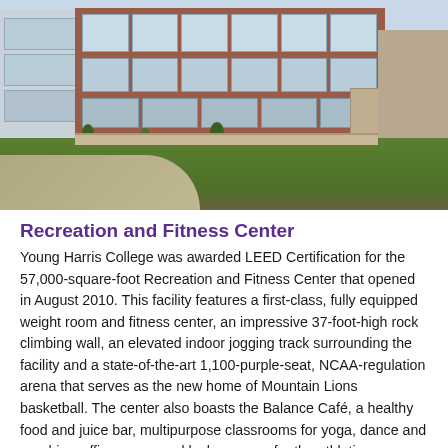[Figure (photo): Exterior photograph of the Young Harris College Recreation and Fitness Center — a large brick building with many windows, surrounded by green lawn, stone pillars, and trees. A curved driveway/path is visible in the foreground.]
Recreation and Fitness Center
Young Harris College was awarded LEED Certification for the 57,000-square-foot Recreation and Fitness Center that opened in August 2010. This facility features a first-class, fully equipped weight room and fitness center, an impressive 37-foot-high rock climbing wall, an elevated indoor jogging track surrounding the facility and a state-of-the-art 1,100-purple-seat, NCAA-regulation arena that serves as the new home of Mountain Lions basketball. The center also boasts the Balance Café, a healthy food and juice bar, multipurpose classrooms for yoga, dance and aerobics, office space and locker rooms for the athletic department, and wider amenities serving the